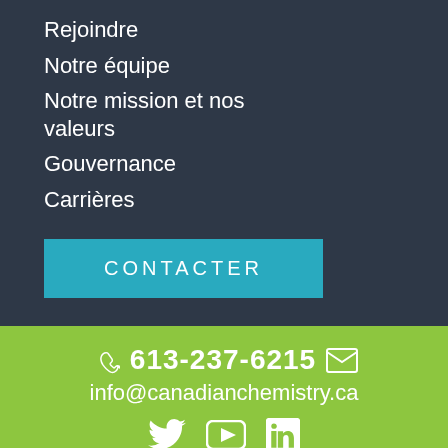Rejoindre
Notre équipe
Notre mission et nos valeurs
Gouvernance
Carrières
CONTACTER
613-237-6215
info@canadianchemistry.ca
[Figure (other): Social media icons: Twitter, YouTube, LinkedIn]
Copyright 2022 © Chemistry Industry Association of Canada
Politique de confidentialité